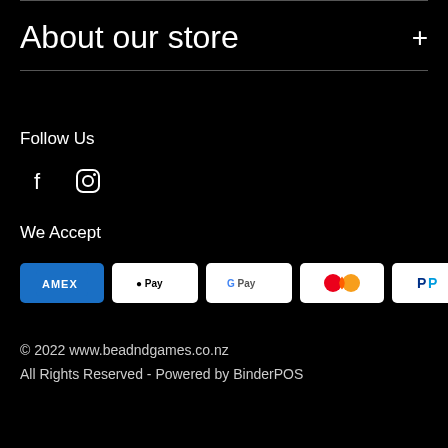About our store
Follow Us
[Figure (illustration): Facebook and Instagram social media icons]
We Accept
[Figure (illustration): Payment method badges: AMEX, Apple Pay, Google Pay, Mastercard, PayPal, VISA]
© 2022 www.beadndgames.co.nz
All Rights Reserved - Powered by BinderPOS